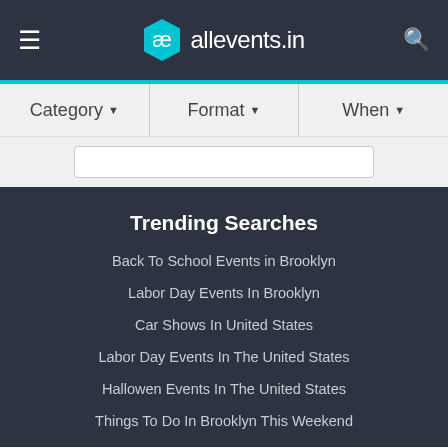allevents.in
Category ▾   Format ▾   When ▾
Trending Searches
Back To School Events in Brooklyn
Labor Day Events In Brooklyn
Car Shows In United States
Labor Day Events In The United States
Hallowen Events In The United States
Things To Do In Brooklyn This Weekend